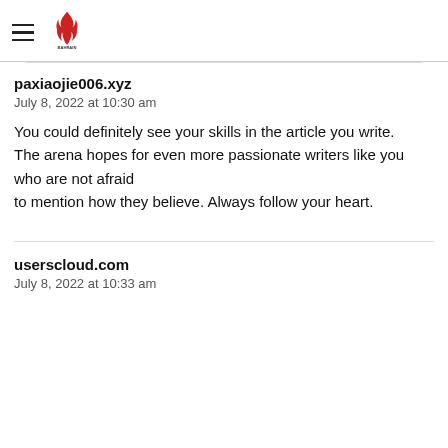BAHRAIN OOO
paxiaojie006.xyz
July 8, 2022 at 10:30 am
You could definitely see your skills in the article you write.
The arena hopes for even more passionate writers like you who are not afraid
to mention how they believe. Always follow your heart.
userscloud.com
July 8, 2022 at 10:33 am